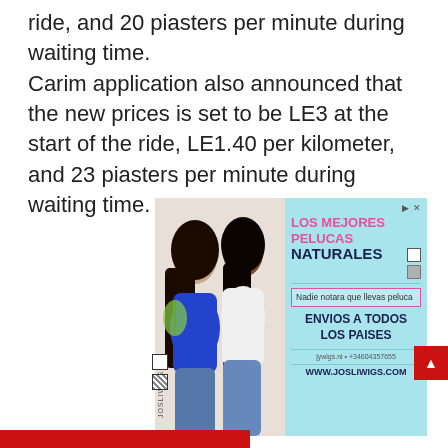ride, and 20 piasters per minute during waiting time. Carim application also announced that the new prices is set to be LE3 at the start of the ride, LE1.40 per kilometer, and 23 piasters per minute during waiting time.
[Figure (photo): Advertisement for JOSLIWIGS showing two women with long black hair (one in blue top, one in white top) alongside Spanish ad text: LOS MEJORES PELUCAS NATURALES, Nadie notara que llevas peluca, ENVIOS A TODOS LOS PAISES, WWW.JOSLIWIGS.COM]